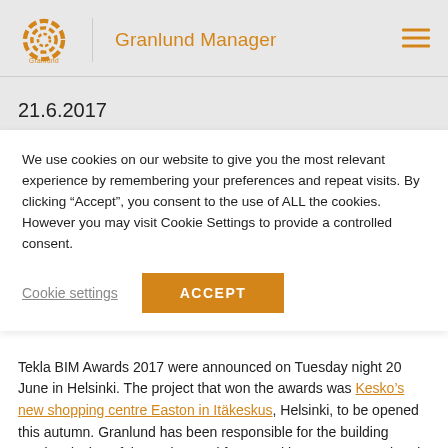Granlund Manager
21.6.2017
We use cookies on our website to give you the most relevant experience by remembering your preferences and repeat visits. By clicking “Accept”, you consent to the use of ALL the cookies. However you may visit Cookie Settings to provide a controlled consent.
Cookie settings | ACCEPT
Tekla BIM Awards 2017 were announced on Tuesday night 20 June in Helsinki. The project that won the awards was Kesko’s new shopping centre Easton in Itäkeskus, Helsinki, to be opened this autumn. Granlund has been responsible for the building service design of the project and for consulting on energy-related and environmental matters, as well as fire